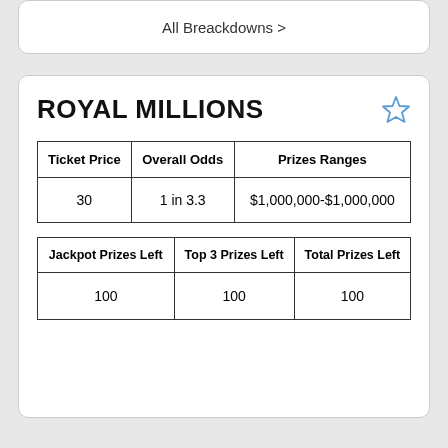All Breackdowns >
ROYAL MILLIONS
| Ticket Price | Overall Odds | Prizes Ranges |
| --- | --- | --- |
| 30 | 1 in 3.3 | $1,000,000-$1,000,000 |
| Jackpot Prizes Left | Top 3 Prizes Left | Total Prizes Left |
| --- | --- | --- |
| 100 | 100 | 100 |